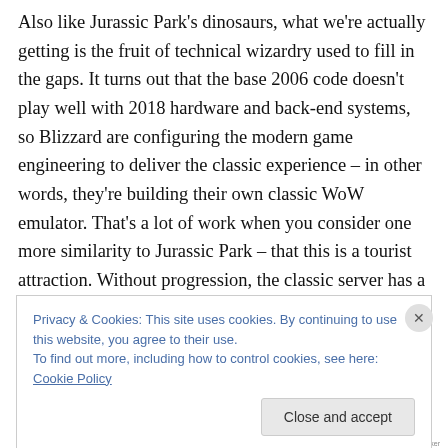Also like Jurassic Park's dinosaurs, what we're actually getting is the fruit of technical wizardry used to fill in the gaps. It turns out that the base 2006 code doesn't play well with 2018 hardware and back-end systems, so Blizzard are configuring the modern game engineering to deliver the classic experience – in other words, they're building their own classic WoW emulator. That's a lot of work when you consider one more similarity to Jurassic Park – that this is a tourist attraction. Without progression, the classic server has a finite set of content and that's it. Level to 60, raid Molten Core, get the gear to progress to
Privacy & Cookies: This site uses cookies. By continuing to use this website, you agree to their use.
To find out more, including how to control cookies, see here: Cookie Policy
[Figure (other): Advertisement banner with purple-to-cyan gradient colors at bottom of page]